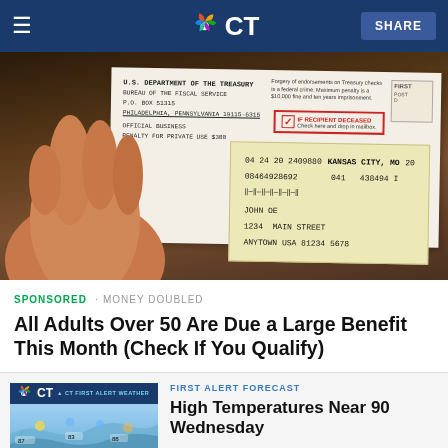NBC CT — Navigation bar with logo and SHARE button
[Figure (photo): Hand holding a U.S. Department of the Treasury Bureau of the Fiscal Service envelope addressed to JOHN OE, 1234 MAIN STREET, ANYTOWN USA 81234 5678, from P.O. BOX 51315, Philadelphia, Pennsylvania 19115-6315. The envelope shows a 'IF RECIPIENT DECEASED Check here and drop in mailbox' notice with a checkmark.]
SPONSORED · MONEY DOUBLED
All Adults Over 50 Are Due a Large Benefit This Month (Check If You Qualify)
[Figure (screenshot): CT First Alert Weather thumbnail showing a weather map]
FIRST ALERT FORECAST
High Temperatures Near 90 Wednesday